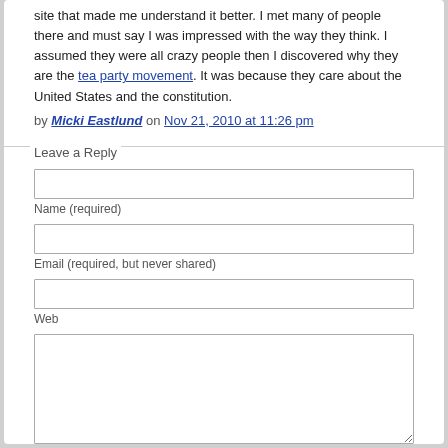site that made me understand it better. I met many of people there and must say I was impressed with the way they think. I assumed they were all crazy people then I discovered why they are the tea party movement. It was because they care about the United States and the constitution.
by Micki Eastlund on Nov 21, 2010 at 11:26 pm
Leave a Reply
Name (required)
Email (required, but never shared)
Web
Submit comment